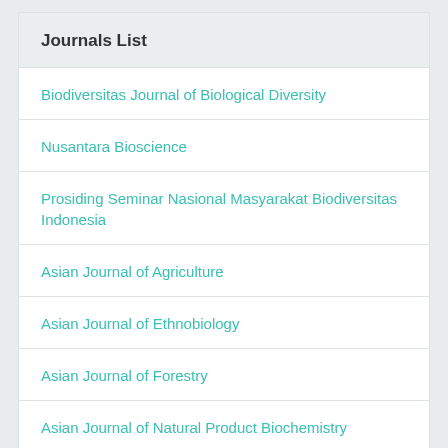Journals List
Biodiversitas Journal of Biological Diversity
Nusantara Bioscience
Prosiding Seminar Nasional Masyarakat Biodiversitas Indonesia
Asian Journal of Agriculture
Asian Journal of Ethnobiology
Asian Journal of Forestry
Asian Journal of Natural Product Biochemistry
Asian Journal of Tropical Biotechnology
International Journal of Bonuses Methodology